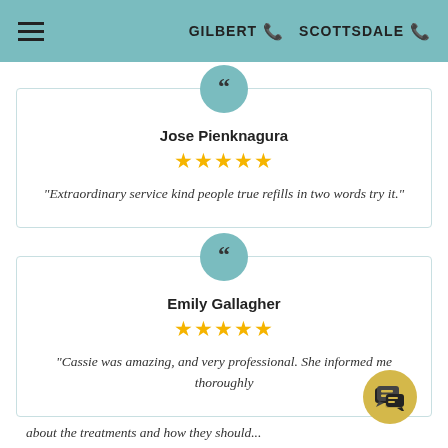GILBERT  SCOTTSDALE
Jose Pienknagura
★★★★★
"Extraordinary service kind people true refills in two words try it."
Emily Gallagher
★★★★★
"Cassie was amazing, and very professional. She informed me thoroughly..."